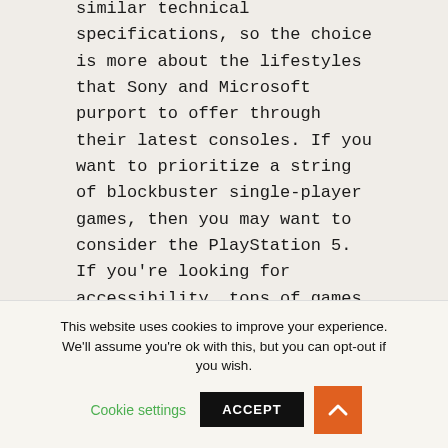similar technical specifications, so the choice is more about the lifestyles that Sony and Microsoft purport to offer through their latest consoles. If you want to prioritize a string of blockbuster single-player games, then you may want to consider the PlayStation 5. If you're looking for accessibility, tons of games, and the most bang for your buck, then the Xbox Series X is the best choice.
[Figure (photo): Photo of several people at what appears to be a press conference, including a woman in the center and men on either side, with American flags in the background.]
This website uses cookies to improve your experience. We'll assume you're ok with this, but you can opt-out if you wish. Cookie settings ACCEPT